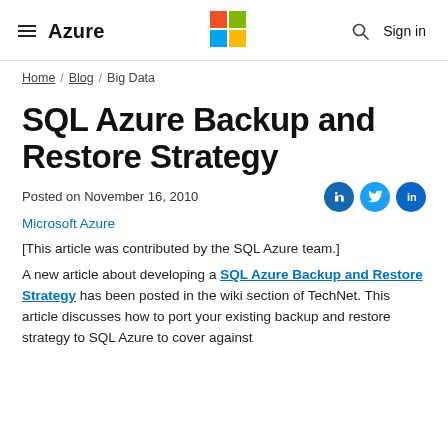≡ Azure | Microsoft Logo | 🔍 Sign in
Home / Blog / Big Data
SQL Azure Backup and Restore Strategy
Posted on November 16, 2010
Microsoft Azure
[This article was contributed by the SQL Azure team.]
A new article about developing a SQL Azure Backup and Restore Strategy has been posted in the wiki section of TechNet. This article discusses how to port your existing backup and restore strategy to SQL Azure to cover against